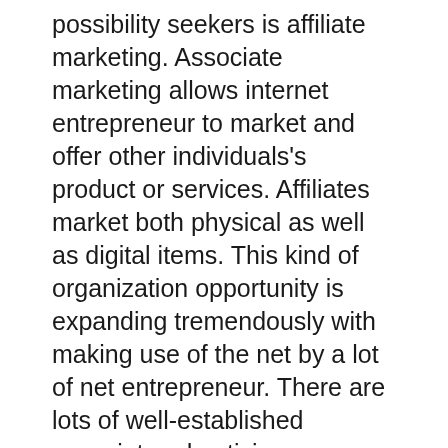possibility seekers is affiliate marketing. Associate marketing allows internet entrepreneur to market and offer other individuals's product or services. Affiliates market both physical as well as digital items. This kind of organization opportunity is expanding tremendously with making use of the net by a lot of net entrepreneur. There are lots of well-established associate advertising programs available to business owners.
One last option for those seeking a company chance for generating income is by signing up with rip-offs that make you pay to acquire products as well as info. This type of company opportunity is becoming a lot more extensive with the growth of the internet.